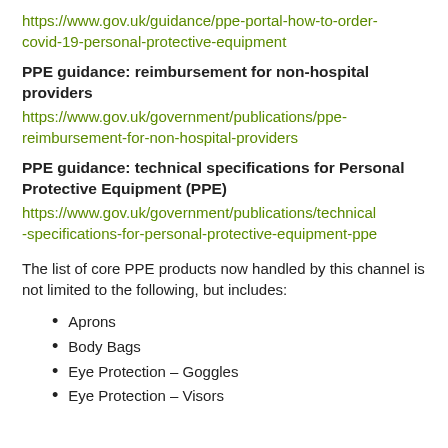https://www.gov.uk/guidance/ppe-portal-how-to-order-covid-19-personal-protective-equipment
PPE guidance: reimbursement for non-hospital providers
https://www.gov.uk/government/publications/ppe-reimbursement-for-non-hospital-providers
PPE guidance: technical specifications for Personal Protective Equipment (PPE)
https://www.gov.uk/government/publications/technical-specifications-for-personal-protective-equipment-ppe
The list of core PPE products now handled by this channel is not limited to the following, but includes:
Aprons
Body Bags
Eye Protection – Goggles
Eye Protection – Visors